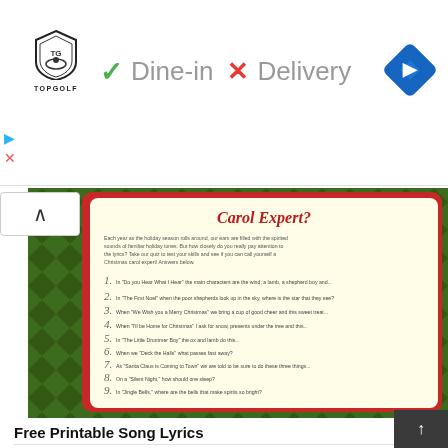[Figure (screenshot): Topgolf advertisement banner showing logo, Dine-in checkmark, Delivery X, and navigation diamond icon]
[Figure (illustration): Christmas Carol Expert quiz card on green chevron background showing quiz questions 1-9 on yellow card with red border]
Free Printable Song Lyrics
[Figure (photo): Bottom photo showing ghost costume on dark starry background]